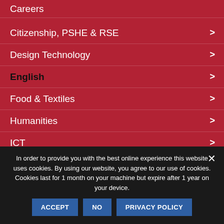Careers
Citizenship, PSHE & RSE
Design Technology
English
Food & Textiles
Humanities
ICT
Key Stage 2
Key Stage 4 Courses
In order to provide you with the best online experience this website uses cookies. By using our website, you agree to our use of cookies. Cookies last for 1 month on your machine but expire after 1 year on your device.
ACCEPT | NO | PRIVACY POLICY